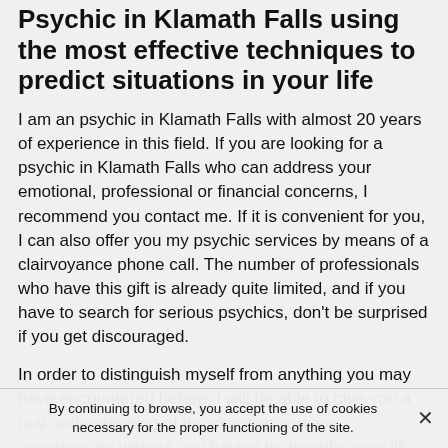Psychic in Klamath Falls using the most effective techniques to predict situations in your life
I am an psychic in Klamath Falls with almost 20 years of experience in this field. If you are looking for a psychic in Klamath Falls who can address your emotional, professional or financial concerns, I recommend you contact me. If it is convenient for you, I can also offer you my psychic services by means of a clairvoyance phone call. The number of professionals who have this gift is already quite limited, and if you have to search for serious psychics, don't be surprised if you get discouraged.
In order to distinguish myself from anything you may have encountered before, I will be able to give you a real understanding of the situation you are experiencing without you having to describe your life to me. I am ready
By continuing to browse, you accept the use of cookies necessary for the proper functioning of the site.